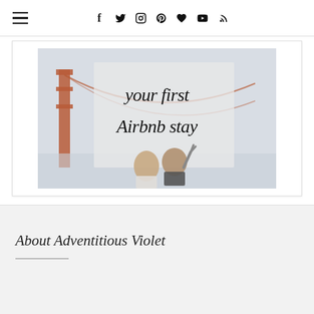Navigation header with hamburger menu and social icons: f, twitter, instagram, pinterest, heart, youtube, rss
[Figure (illustration): Blog post thumbnail showing two women viewed from behind looking at the Golden Gate Bridge with cursive text overlay reading 'your first Airbnb stay']
About Adventitious Violet